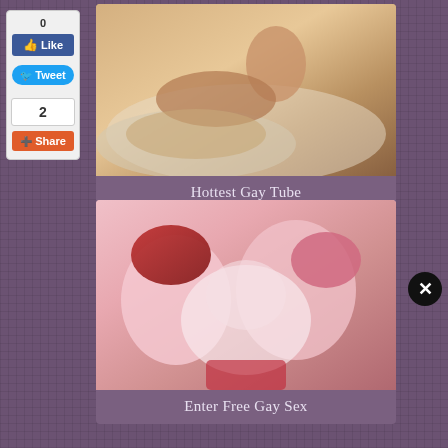0
Like
Tweet
2
Share
[Figure (photo): Photograph thumbnail for Hottest Gay Tube link]
Hottest Gay Tube
[Figure (illustration): Anime illustration thumbnail for Enter Free Gay Sex link]
Enter Free Gay Sex